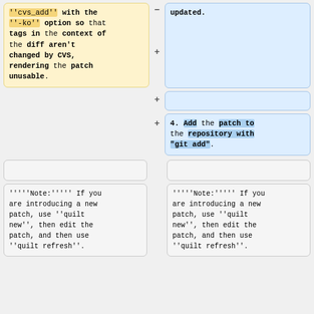''cvs_add'' with the ''-ko'' option so that tags in the context of the diff aren't changed by CVS, rendering the patch unusable.
updated.
4. Add the patch to the repository with "git add".
'''''Note:''''' If you are introducing a new patch, use ''quilt new'', then edit the patch, and then use ''quilt refresh''.
'''''Note:''''' If you are introducing a new patch, use ''quilt new'', then edit the patch, and then use ''quilt refresh''.